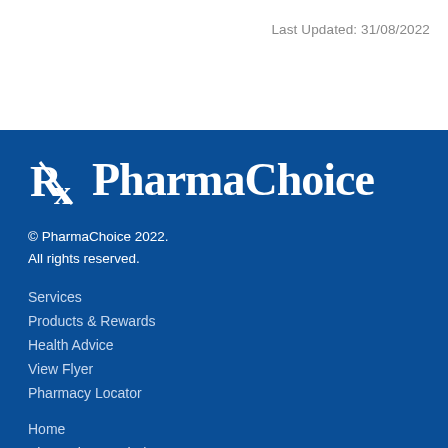Last Updated: 31/08/2022
[Figure (logo): PharmaChoice logo with Rx symbol and PharmaChoice wordmark in white on blue background]
© PharmaChoice 2022.
All rights reserved.
Services
Products & Rewards
Health Advice
View Flyer
Pharmacy Locator
Home
About PharmaChoice
Terms & Conditions